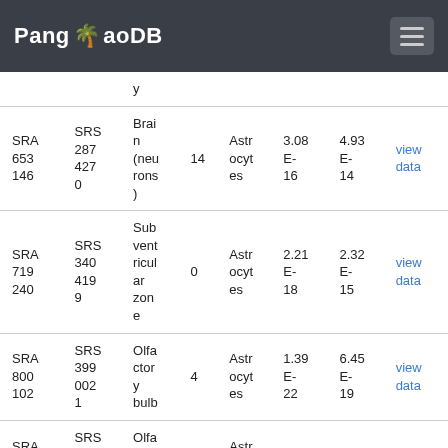PanglaoDB
| SRA | SRS | Tissue | Clusters | Cell type | p-value | Adjusted p-value |  |
| --- | --- | --- | --- | --- | --- | --- | --- |
| SRA 653 146 | SRS 287 427 0 | Brain (neurons) | 14 | Astrocytes | 3.08 E-16 | 4.93 E-14 | view data |
| SRA 719 240 | SRS 340 419 9 | Subventricular zone | 0 | Astrocytes | 2.21 E-18 | 2.32 E-15 | view data |
| SRA 800 102 | SRS 399 002 1 | Olfactory bulb | 4 | Astrocytes | 1.39 E-22 | 6.45 E-19 | view data |
| SRA 800 102 | SRS 399 002 1 | Olfactory bulb | 13 | Astrocytes | 2.30 E-5 | 5.02 E-3 | view data |
| SRA 609 165 | SRS 252 351 0 | Medial amygdala | 1 | Astrocytes | 1.97 E-29 | 3.48 E-26 | view data |